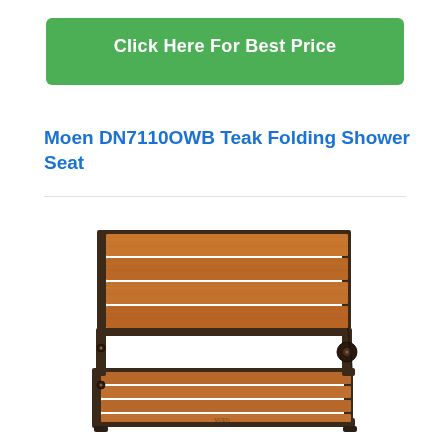[Figure (other): Green button with text 'Click Here For Best Price']
Moen DN7110OWB Teak Folding Shower Seat
[Figure (photo): Product photo of Moen DN7110OWB Teak Folding Shower Seat — a wall-mounted folding seat with teak wood slats and dark bronze metal frame, shown in open/deployed position]